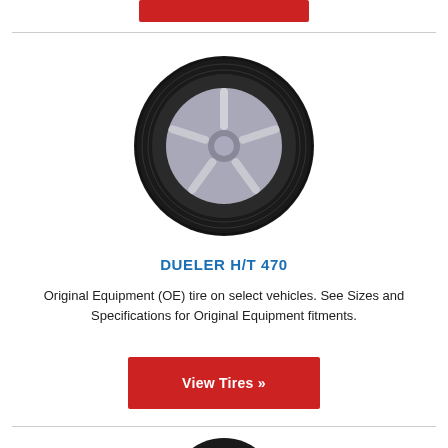[Figure (photo): Red button partially visible at top of page]
[Figure (photo): Bridgestone Dueler H/T 470 tire on a silver alloy wheel, viewed at an angle]
DUELER H/T 470
Original Equipment (OE) tire on select vehicles. See Sizes and Specifications for Original Equipment fitments.
[Figure (other): Red 'View Tires »' button]
[Figure (photo): Partial view of another tire at the bottom of the page]